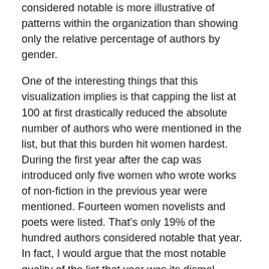considered notable is more illustrative of patterns within the organization than showing only the relative percentage of authors by gender.
One of the interesting things that this visualization implies is that capping the list at 100 at first drastically reduced the absolute number of authors who were mentioned in the list, but that this burden hit women hardest. During the first year after the cap was introduced only five women who wrote works of non-fiction in the previous year were mentioned. Fourteen women novelists and poets were listed. That's only 19% of the hundred authors considered notable that year. In fact, I would argue that the most notable quality of the list that year was its dismal gender parity. It is possible some in the organization were able to confront the gender disparity because it started to move closer to 50/50, jumping to 39/61 the next year. But then…the best intentions may have faltered as the proportions slipped little by little back towards the one-third women, two-thirds men scenario that was more